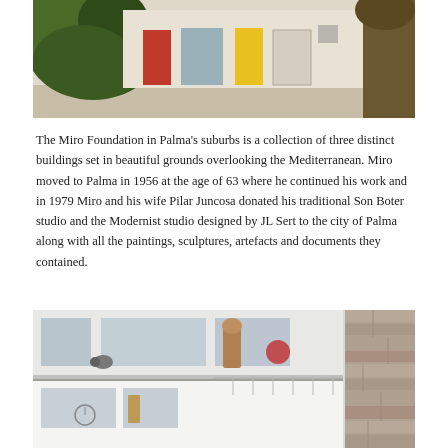[Figure (photo): Exterior view of the Miro Foundation building with colorful doors (red, blue/grey, yellow, white) set against a white facade, with palm trees on the left and a large tree trunk on the right, sandy ground in foreground.]
The Miro Foundation in Palma's suburbs is a collection of three distinct buildings set in beautiful grounds overlooking the Mediterranean. Miro moved to Palma in 1956 at the age of 63 where he continued his work and in 1979 Miro and his wife Pilar Juncosa donated his traditional Son Boter studio and the Modernist studio designed by JL Sert to the city of Palma along with all the paintings, sculptures, artefacts and documents they contained.
[Figure (photo): Interior/exterior view of the modernist Miro Foundation studio building designed by JL Sert, showing white modernist architecture with large windows, balcony railings, a security camera, sculptures visible through windows, and a stone wall on the right.]